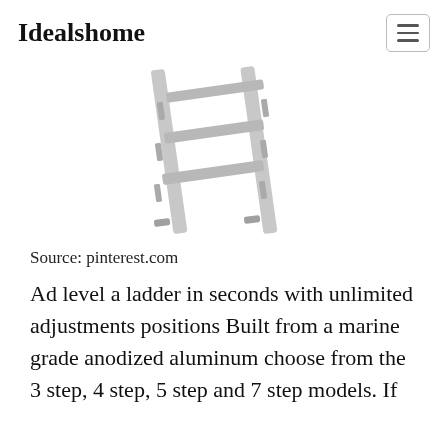Idealshome
[Figure (photo): Photograph of a silver/aluminum multi-step ladder (3–4 rungs visible) shown at an angle against a white background]
Source: pinterest.com
Ad level a ladder in seconds with unlimited adjustments positions Built from a marine grade anodized aluminum choose from the 3 step, 4 step, 5 step and 7 step models. If